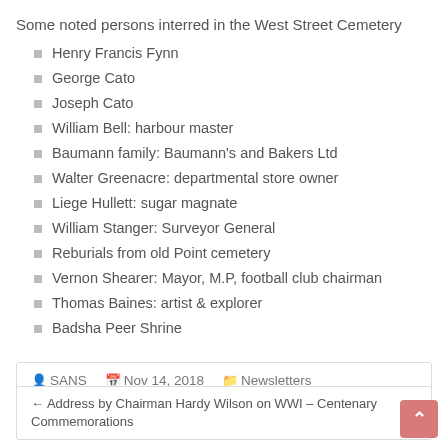Some noted persons interred in the West Street Cemetery
Henry Francis Fynn
George Cato
Joseph Cato
William Bell: harbour master
Baumann family: Baumann's and Bakers Ltd
Walter Greenacre: departmental store owner
Liege Hullett: sugar magnate
William Stanger: Surveyor General
Reburials from old Point cemetery
Vernon Shearer: Mayor, M.P, football club chairman
Thomas Baines: artist & explorer
Badsha Peer Shrine
SANS  Nov 14, 2018  Newsletters
← Address by Chairman Hardy Wilson on WWI – Centenary Commemorations